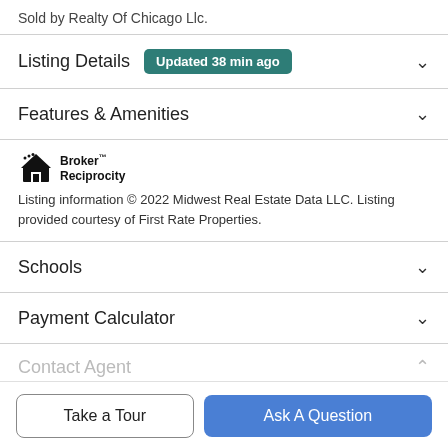Sold by Realty Of Chicago Llc.
Listing Details  Updated 38 min ago
Features & Amenities
Listing information © 2022 Midwest Real Estate Data LLC. Listing provided courtesy of First Rate Properties.
Schools
Payment Calculator
Contact Agent
Take a Tour
Ask A Question